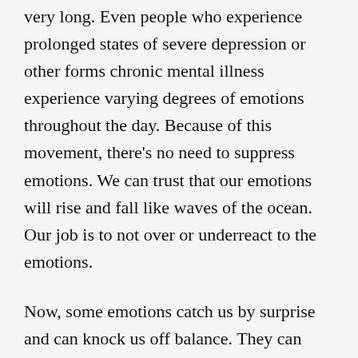very long. Even people who experience prolonged states of severe depression or other forms chronic mental illness experience varying degrees of emotions throughout the day. Because of this movement, there's no need to suppress emotions. We can trust that our emotions will rise and fall like waves of the ocean. Our job is to not over or underreact to the emotions.
Now, some emotions catch us by surprise and can knock us off balance. They can show up as a sudden surge of sadness, anger, jealousy, or even more positive emotions. It's our responsibility to make sure that we are personally accountable for how we respond to these emotions. Just because we feel an emotion doesn't give us license to respond poorly to ourselves or those around us. Even though we can't decide what emotions we'll